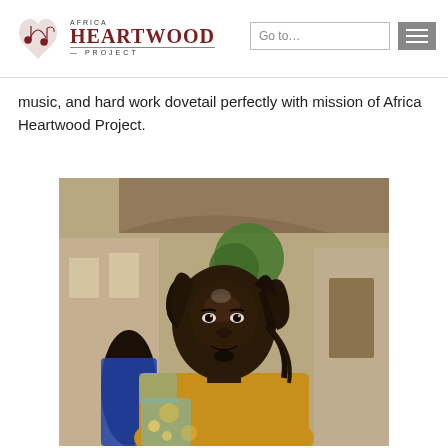Africa Heartwood Project — Go to… [navigation]
music, and hard work dovetail perfectly with mission of Africa Heartwood Project.
[Figure (photo): Portrait photo of a young African man with dreadlocks, wearing a yellow and teal patterned African shirt, smiling slightly, photographed outdoors in an urban African setting with a building and green tree in the background.]